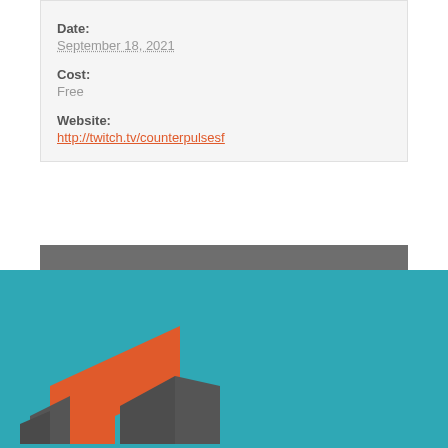Date:
September 18, 2021
Cost:
Free
Website:
http://twitch.tv/counterpulsesf
« Queeratorial Collectives Do It Themselves
TenderArts Residency with Joe Landini »
[Figure (logo): CounterPulse logo — red and dark grey geometric shapes on teal background]